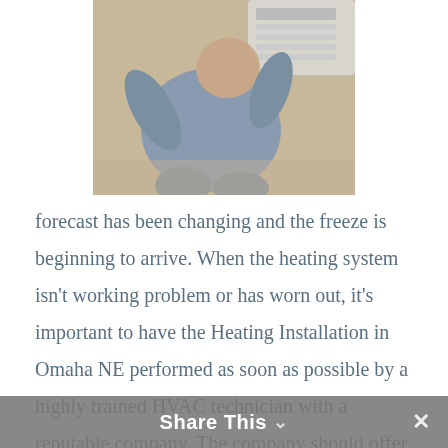[Figure (photo): A person (bald, wearing grey clothing) kneeling and working on a wall-mounted HVAC or heating unit, viewed from above/behind, on a beige carpet floor.]
forecast has been changing and the freeze is beginning to arrive. When the heating system isn't working problem or has worn out, it's important to have the Heating Installation in Omaha NE performed as soon as possible by a highly trained HVAC technician with a reputable company. The company should offer top-of-the-line equipment. They should also provide installation
Share This